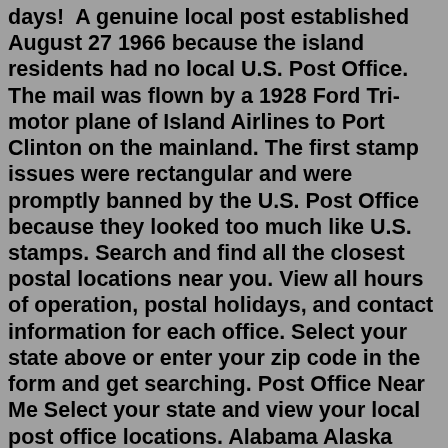days! A genuine local post established August 27 1966 because the island residents had no local U.S. Post Office. The mail was flown by a 1928 Ford Tri-motor plane of Island Airlines to Port Clinton on the mainland. The first stamp issues were rectangular and were promptly banned by the U.S. Post Office because they looked too much like U.S. stamps. Search and find all the closest postal locations near you. View all hours of operation, postal holidays, and contact information for each office. Select your state above or enter your zip code in the form and get searching. Post Office Near Me Select your state and view your local post office locations. Alabama Alaska Arizona Arkansas CaliforniaOperating hours of all Post Offices is 8:00 am until 2:30 pm, Monday to Friday. All Post Offices remain closed on public holidays, ie. New Year's Day, Epiphany Day, Green Monday, 25th March, 1st April, Good Friday, Easter Monday, Pentecost Monday, 15th August, 1st October, 28th October, 24th December, Christmas Day, 26th December. Nov 23, 2021 · The post office today is